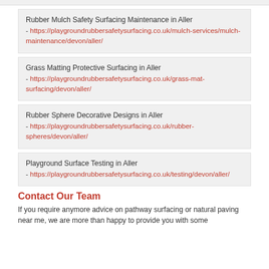Rubber Mulch Safety Surfacing Maintenance in Aller - https://playgroundrubbersafetysurfacing.co.uk/mulch-services/mulch-maintenance/devon/aller/
Grass Matting Protective Surfacing in Aller - https://playgroundrubbersafetysurfacing.co.uk/grass-mat-surfacing/devon/aller/
Rubber Sphere Decorative Designs in Aller - https://playgroundrubbersafetysurfacing.co.uk/rubber-spheres/devon/aller/
Playground Surface Testing in Aller - https://playgroundrubbersafetysurfacing.co.uk/testing/devon/aller/
Contact Our Team
If you require anymore advice on pathway surfacing or natural paving near me, we are more than happy to provide you with some